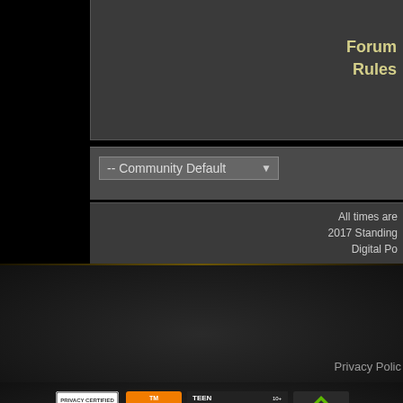Forum
Rules
-- Community Default
All times are
2017 Standing
Digital Po
Privacy Polic
[Figure (logo): ESRB Privacy Certified badge with globe and ribbon design]
[Figure (logo): PEGI 12 rating badge - orange with white 12]
[Figure (logo): ESRB Teen rating box with T and descriptors: Violence, Blood, Alcohol Reference, Suggestive Themes]
[Figure (logo): USK/similar green diamond rating badge]